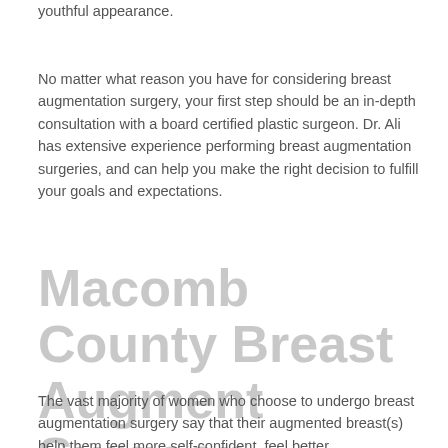youthful appearance.
No matter what reason you have for considering breast augmentation surgery, your first step should be an in-depth consultation with a board certified plastic surgeon. Dr. Ali has extensive experience performing breast augmentation surgeries, and can help you make the right decision to fulfill your goals and expectations.
Macomb County Breast Augmentation Surgeon
The vast majority of women who choose to undergo breast augmentation surgery say that their augmented breast(s) help them feel more self-confident, feel better